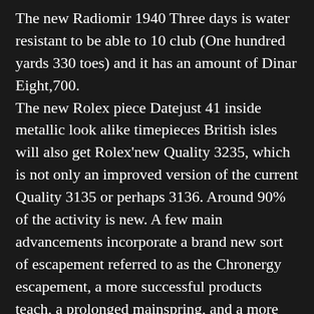The new Radiomir 1940 Three days is water resistant to be able to 10 club (One hundred yards 330 toes) and it has an amount of Dinar Eight,700. The new Rolex piece Datejust 41 inside metallic look alike timepieces British isles will also get Rolex'new Quality 3235, which is not only an improved version of the current Quality 3135 or perhaps 3136. Around 90% of the activity is new. A few main advancements incorporate a brand new sort of escapement referred to as the Chronergy escapement, a more successful products teach, a prolonged mainspring, and a more effective self winding unit. With regard to masters, this means an extended strength hold regarding 80 several hours and improved upon